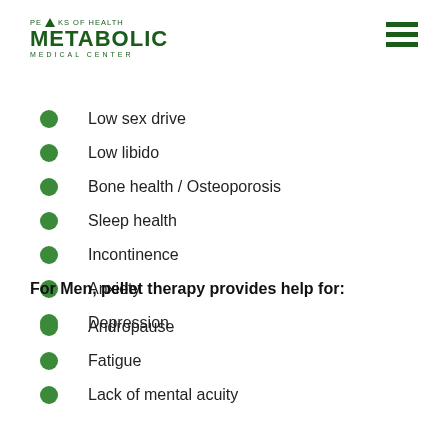[Figure (logo): Peaks of Health Metabolic Medical Center logo with green triangle and text]
Low sex drive
Low libido
Bone health / Osteoporosis
Sleep health
Incontinence
Anxiety
Depression
For Men, pellet therapy provides help for:
Andropause
Fatigue
Lack of mental acuity